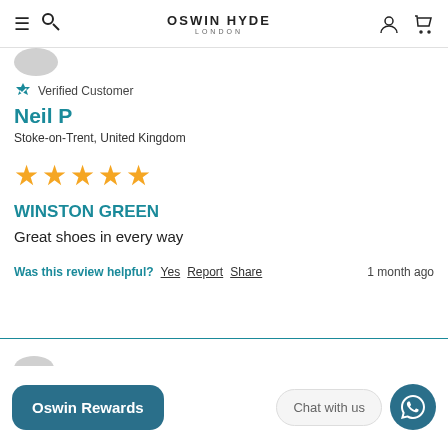OSWIN HYDE LONDON
Verified Customer
Neil P
Stoke-on-Trent, United Kingdom
[Figure (other): Five gold star rating icons]
WINSTON GREEN
Great shoes in every way
Was this review helpful? Yes Report Share  1 month ago